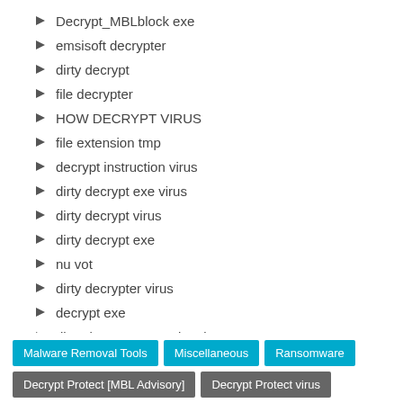Decrypt_MBLblock exe
emsisoft decrypter
dirty decrypt
file decrypter
HOW DECRYPT VIRUS
file extension tmp
decrypt instruction virus
dirty decrypt exe virus
dirty decrypt virus
dirty decrypt exe
nu vot
dirty decrypter virus
decrypt exe
dirty decrypt removal tool
decrypt_mblblock
Malware Removal Tools | Miscellaneous | Ransomware | Decrypt Protect [MBL Advisory] | Decrypt Protect virus